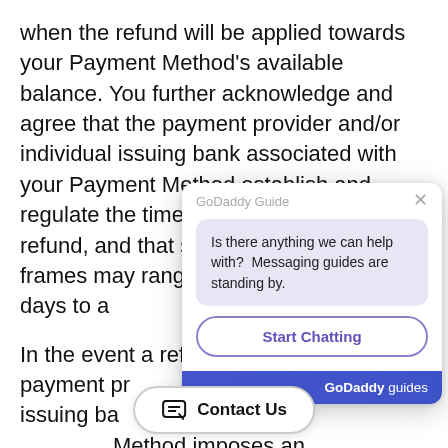when the refund will be applied towards your Payment Method's available balance. You further acknowledge and agree that the payment provider and/or individual issuing bank associated with your Payment Method establish and regulate the time frames for posting your refund, and that such refund posting time frames may range from five (5) business days to a
In the event a refund and the payment pr individual issuing ba Method imposes an not limited to, limita the number of refun and absolute discre refund either (i) in th issuance of a GoDaddy check, which will be sent to the mailing address on file for your Acco jurisdictions, as a bank transfer, when the payment
[Figure (screenshot): GoDaddy Guide chat widget overlay with header 'GoDaddy Guide', close X button, purple chat bubble saying 'Is there anything we can help with? Messaging guides are standing by.', and a 'Start Chatting' button with purple outline. Below is a blue GoDaddy guides banner. At the bottom is an oval 'Contact Us' button with chat icon.]